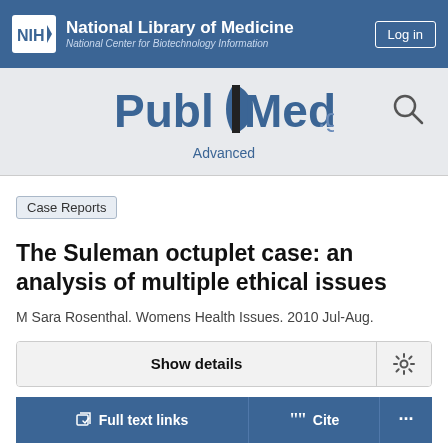National Library of Medicine — National Center for Biotechnology Information
[Figure (logo): PubMed.gov logo with magnifying glass search icon and Advanced link]
Case Reports
The Suleman octuplet case: an analysis of multiple ethical issues
M Sara Rosenthal. Womens Health Issues. 2010 Jul-Aug.
Show details
Full text links   Cite   ...